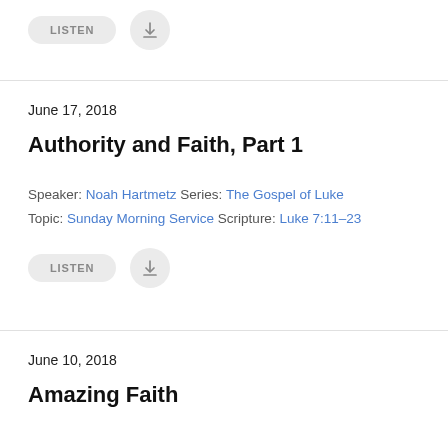[Figure (other): LISTEN button and download icon button at top]
June 17, 2018
Authority and Faith, Part 1
Speaker: Noah Hartmetz Series: The Gospel of Luke Topic: Sunday Morning Service Scripture: Luke 7:11–23
[Figure (other): LISTEN button and download icon button below sermon entry]
June 10, 2018
Amazing Faith